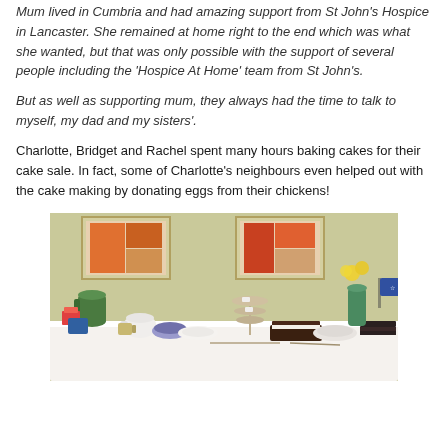Mum lived in Cumbria and had amazing support from St John's Hospice in Lancaster.  She remained at home right to the end which was what she wanted, but that was only possible with the support of several people including the 'Hospice At Home' team from St John's.
But as well as supporting mum, they always had the time to talk to myself, my dad and my sisters'.
Charlotte, Bridget and Rachel spent many hours baking cakes for their cake sale.  In fact, some of Charlotte's neighbours even helped out with the cake making by donating eggs from their chickens!
[Figure (photo): A table covered with a white tablecloth displaying a cake sale, with various cakes, baked goods, dishes, mugs, a green jug, a vase of yellow flowers, and framed pictures on a light green wall behind.]